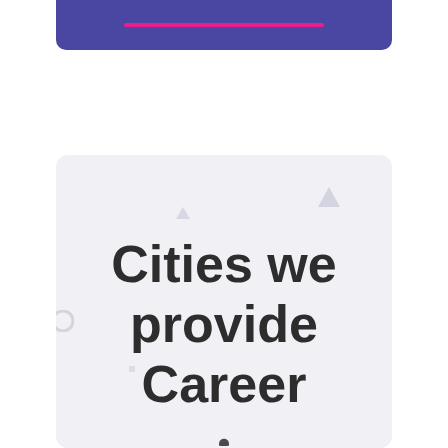[Figure (illustration): Top purple/indigo rounded banner with a pink horizontal line accent, partially visible at top of page]
[Figure (illustration): Light gray rounded card with decorative geometric shapes (triangles, circles) and large bold text reading 'Cities we provide Career']